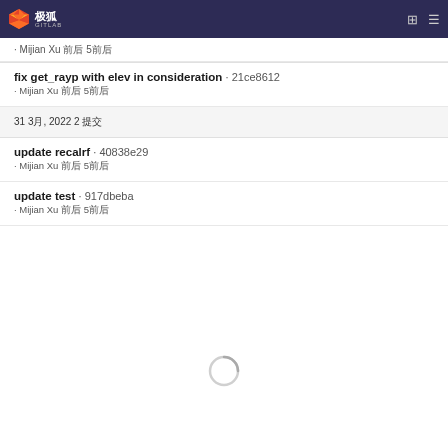极狐 GITLAB
· Mijian Xu 前后 5前后
fix get_rayp with elev in consideration · 21ce8612
· Mijian Xu 前后 5前后
31 3月, 2022 2 提交
update recalrf · 40838e29
· Mijian Xu 前后 5前后
update test · 917dbeba
· Mijian Xu 前后 5前后
[Figure (illustration): Loading spinner circle]